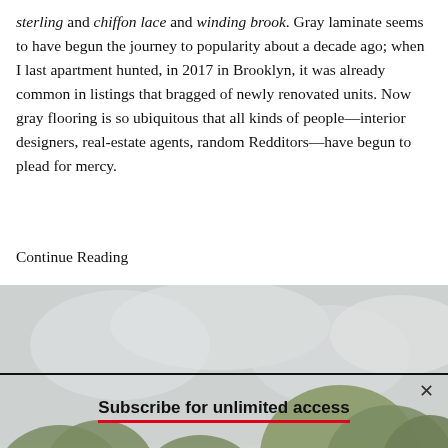sterling and chiffon lace and winding brook. Gray laminate seems to have begun the journey to popularity about a decade ago; when I last apartment hunted, in 2017 in Brooklyn, it was already common in listings that bragged of newly renovated units. Now gray flooring is so ubiquitous that all kinds of people—interior designers, real-estate agents, random Redditors—have begun to plead for mercy.
Continue Reading
[Figure (photo): Outdoor photo showing trees with green foliage against a light gray cloudy sky, with some white tent or structure partially visible at the bottom.]
Subscribe for unlimited access